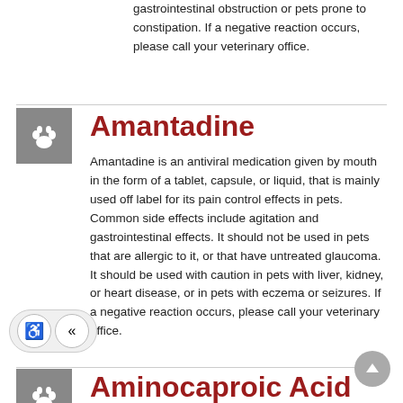gastrointestinal obstruction or pets prone to constipation. If a negative reaction occurs, please call your veterinary office.
Amantadine
Amantadine is an antiviral medication given by mouth in the form of a tablet, capsule, or liquid, that is mainly used off label for its pain control effects in pets. Common side effects include agitation and gastrointestinal effects. It should not be used in pets that are allergic to it, or that have untreated glaucoma. It should be used with caution in pets with liver, kidney, or heart disease, or in pets with eczema or seizures. If a negative reaction occurs, please call your veterinary office.
Aminocaproic Acid